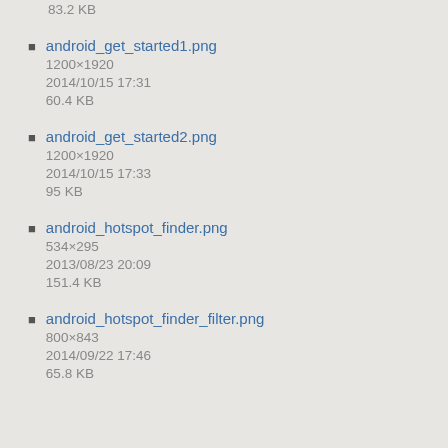83.2 KB
android_get_started1.png
1200×1920
2014/10/15 17:31
60.4 KB
android_get_started2.png
1200×1920
2014/10/15 17:33
95 KB
android_hotspot_finder.png
534×295
2013/08/23 20:09
151.4 KB
android_hotspot_finder_filter.png
800×843
2014/09/22 17:46
65.8 KB